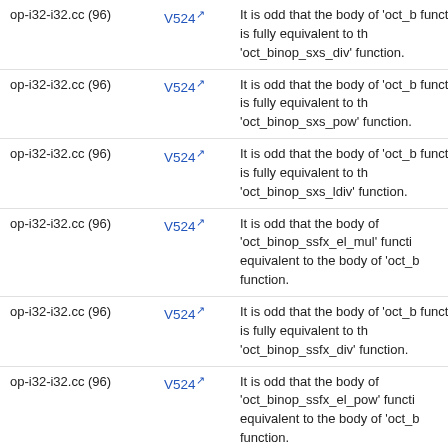| File | Code | Message |
| --- | --- | --- |
| op-i32-i32.cc (96) | V524 | It is odd that the body of 'oct_b function is fully equivalent to th 'oct_binop_sxs_div' function. |
| op-i32-i32.cc (96) | V524 | It is odd that the body of 'oct_b function is fully equivalent to th 'oct_binop_sxs_pow' function. |
| op-i32-i32.cc (96) | V524 | It is odd that the body of 'oct_b function is fully equivalent to th 'oct_binop_sxs_ldiv' function. |
| op-i32-i32.cc (96) | V524 | It is odd that the body of 'oct_binop_ssfx_el_mul' functi equivalent to the body of 'oct_b function. |
| op-i32-i32.cc (96) | V524 | It is odd that the body of 'oct_b function is fully equivalent to th 'oct_binop_ssfx_div' function. |
| op-i32-i32.cc (96) | V524 | It is odd that the body of 'oct_binop_ssfx_el_pow' functi equivalent to the body of 'oct_b function. |
| op-i32-i32.cc (96) | V524 | It is odd that the body of 'oct_binop_ssfx_el_ldiv' functi equivalent to the body of 'oct_b function. |